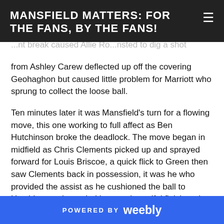MANSFIELD MATTERS: FOR THE FANS, BY THE FANS!
from Ashley Carew deflected up off the covering Geohaghon but caused little problem for Marriott who sprung to collect the loose ball.
Ten minutes later it was Mansfield’s turn for a flowing move, this one working to full affect as Ben Hutchinson broke the deadlock. The move began in midfield as Chris Clements picked up and sprayed forward for Louis Briscoe, a quick flick to Green then saw Clements back in possession, it was he who provided the assist as he cushioned the ball to Hutchinson who curled home a beautiful finish at the first attempt from the edge of the area.
A free kick for Ebbsfleet after a foul by Meikle on substitute Lanre Azeez on 18 minutes provided opportunity for a leveller, Mansfield’s wall were stronger than a week ago as it rose to
POWERED BY weebly